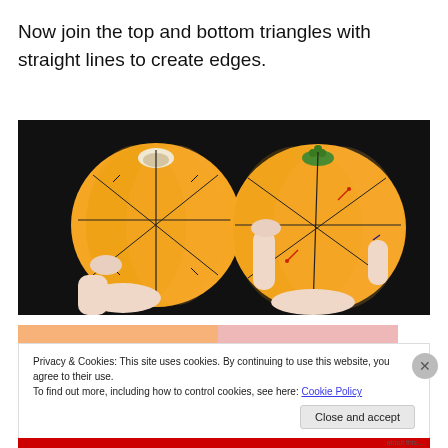Now join the top and bottom triangles with straight lines to create edges.
[Figure (photo): Two orange pumpkins held by a person's hands against a black background. Both pumpkins have black lines drawn on them marking geometric triangles and edges for carving guidance.]
Privacy & Cookies: This site uses cookies. By continuing to use this website, you agree to their use.
To find out more, including how to control cookies, see here: Cookie Policy